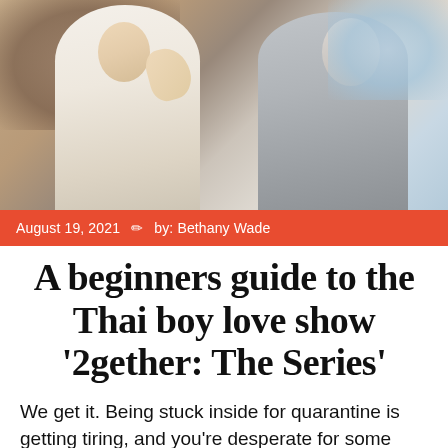[Figure (photo): Two people facing each other closely, about to kiss. One person in white clothing holds the other's face/neck. Soft warm and cool background tones.]
August 19, 2021  ✏  by: Bethany Wade
A beginners guide to the Thai boy love show '2gether: The Series'
We get it. Being stuck inside for quarantine is getting tiring, and you're desperate for some new drama in your life. Nothing on Netflix is entertaining anymore either, since you've joined